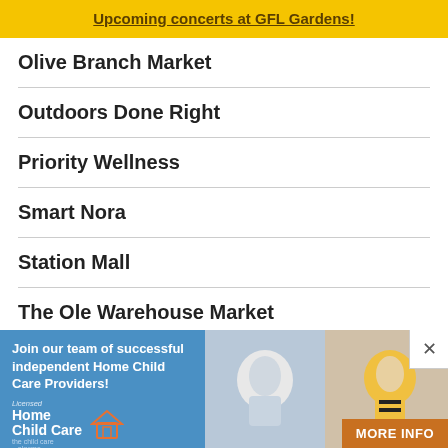Upcoming concerts at GFL Gardens!
Olive Branch Market
Outdoors Done Right
Priority Wellness
Smart Nora
Station Mall
The Ole Warehouse Market
The Other Guys
The Rad Zone
[Figure (infographic): Advertisement banner for Home Child Care Algoma. Left side has blue background with text 'Join our team of successful independent Home Child Care Providers!' and logo. Right side shows photos of children playing, with orange 'MORE INFO' button.]